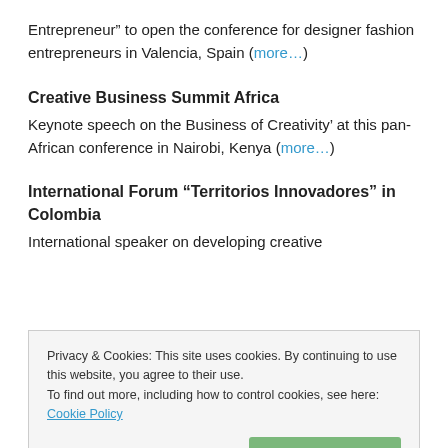Entrepreneur” to open the conference for designer fashion entrepreneurs in Valencia, Spain (more…)
Creative Business Summit Africa
Keynote speech on the Business of Creativity’ at this pan-African conference in Nairobi, Kenya (more…)
International Forum “Territorios Innovadores” in Colombia
International speaker on developing creative
Privacy & Cookies: This site uses cookies. By continuing to use this website, you agree to their use.
To find out more, including how to control cookies, see here: Cookie Policy
Orange Economy speaker at the ‘Connecting the